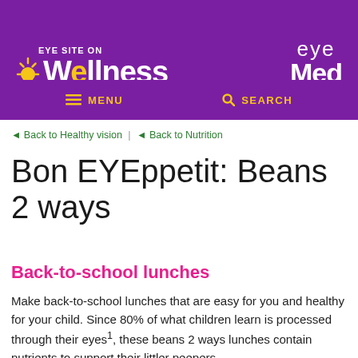EYE SITE ON Wellness | EyeMed
MENU | SEARCH
◄ Back to Healthy vision | ◄ Back to Nutrition
Bon EYEppetit: Beans 2 ways
Back-to-school lunches
Make back-to-school lunches that are easy for you and healthy for your child. Since 80% of what children learn is processed through their eyes1, these beans 2 ways lunches contain nutrients to support their littler peepers.